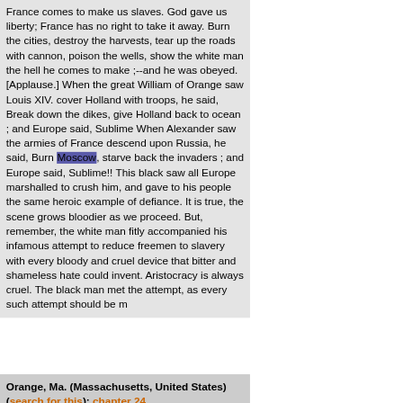France comes to make us slaves. God gave us liberty; France has no right to take it away. Burn the cities, destroy the harvests, tear up the roads with cannon, poison the wells, show the white man the hell he comes to make ;--and he was obeyed. [Applause.] When the great William of Orange saw Louis XIV. cover Holland with troops, he said, Break down the dikes, give Holland back to ocean ; and Europe said, Sublime When Alexander saw the armies of France descend upon Russia, he said, Burn Moscow, starve back the invaders ; and Europe said, Sublime!! This black saw all Europe marshalled to crush him, and gave to his people the same heroic example of defiance. It is true, the scene grows bloodier as we proceed. But, remember, the white man fitly accompanied his infamous attempt to reduce freemen to slavery with every bloody and cruel device that bitter and shameless hate could invent. Aristocracy is always cruel. The black man met the attempt, as every such attempt should be m
Orange, Ma. (Massachusetts, United States) (search for this): chapter 24